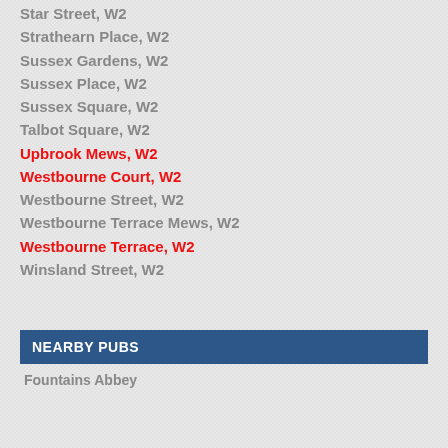Star Street, W2
Strathearn Place, W2
Sussex Gardens, W2
Sussex Place, W2
Sussex Square, W2
Talbot Square, W2
Upbrook Mews, W2
Westbourne Court, W2
Westbourne Street, W2
Westbourne Terrace Mews, W2
Westbourne Terrace, W2
Winsland Street, W2
NEARBY PUBS
Fountains Abbey